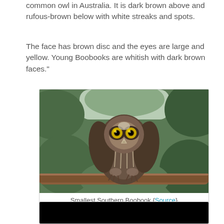common owl in Australia. It is dark brown above and rufous-brown below with white streaks and spots.
The face has brown disc and the eyes are large and yellow. Young Boobooks are whitish with dark brown faces."
[Figure (photo): A Southern Boobook owl perched on a branch, facing forward with large yellow eyes, dark brown and white streaked plumage, with green foliage in the background.]
Smallest Southern Boobook {Source}
[Figure (photo): Black rectangle at bottom of page, appears to be a video player or second image partially visible.]